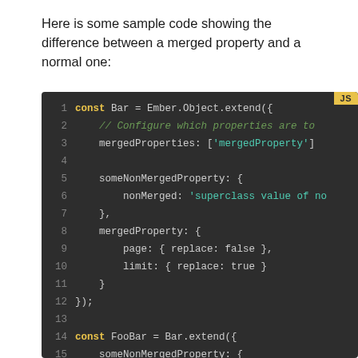Here is some sample code showing the difference between a merged property and a normal one:
[Figure (screenshot): Dark-themed code editor screenshot showing JavaScript code with syntax highlighting. Lines 1-20 of code defining Bar and FooBar classes using Ember.Object.extend(), with mergedProperties configuration. A yellow 'JS' badge appears in the top-right corner.]